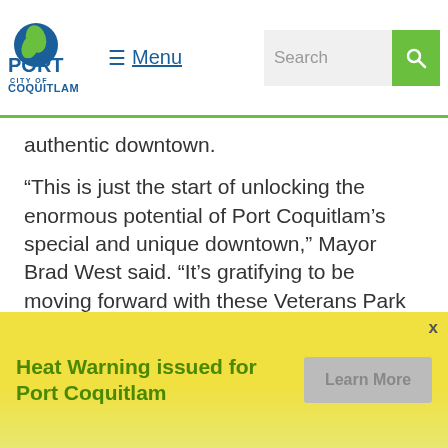City of Port Coquitlam – Menu | Search
authentic downtown.
“This is just the start of unlocking the enormous potential of Port Coquitlam’s special and unique downtown,” Mayor Brad West said. “It’s gratifying to be moving forward with these Veterans Park improvements as the first step in our ambitious and exciting initiative. In keeping with the rest of the improvements planned for our Civic Centre, we can’t wait to see Veterans Park opened up and become a lively, inviting and safe space that everyone can enjoy – starting with this year’s Remembrance Day.”
Funded through the City’s 2022 Capital Plan, the
Heat Warning issued for Port Coquitlam
Learn More